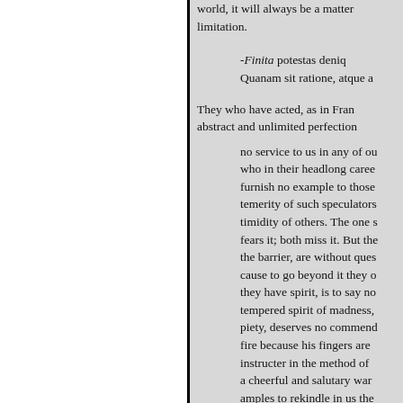world, it will always be a matter of limitation.
-Finita potestas deniq Quanam sit ratione, atque a
They who have acted, as in Fran abstract and unlimited perfection no service to us in any of ou who in their headlong caree furnish no example to those temerity of such speculators timidity of others. The one s fears it; both miss it. But the the barrier, are without ques cause to go beyond it they o they have spirit, is to say no tempered spirit of madness, piety, deserves no commend fire because his fingers are instructer in the method of a cheerful and salutary war amples to rekindle in us the